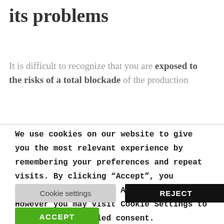its problems
It is difficult to recognize that you are exposed to the risks of a total blockade of the production
We use cookies on our website to give you the most relevant experience by remembering your preferences and repeat visits. By clicking “Accept”, you consent to the use of ALL the cookies. However you may visit Cookie Settings to provide a controlled consent.
Cookie settings
REJECT
ACCEPT